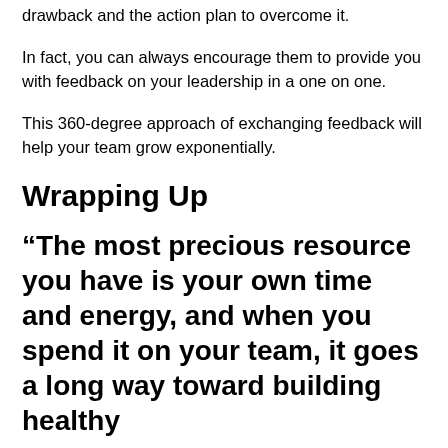drawback and the action plan to overcome it.
In fact, you can always encourage them to provide you with feedback on your leadership in a one on one.
This 360-degree approach of exchanging feedback will help your team grow exponentially.
Wrapping Up
“The most precious resource you have is your own time and energy, and when you spend it on your team, it goes a long way toward building healthy